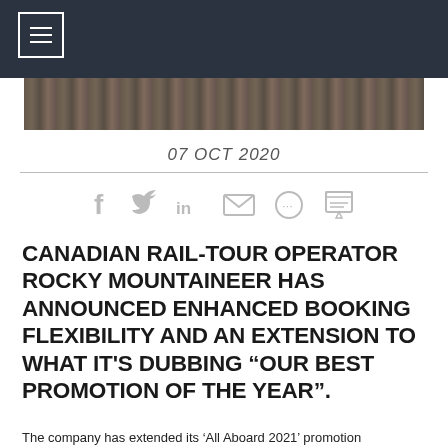[Figure (photo): Hero image showing a dark wooded/train scene background]
07 OCT 2020
[Figure (infographic): Social sharing icons: Facebook, Twitter, LinkedIn, Email, Comment, Print]
CANADIAN RAIL-TOUR OPERATOR ROCKY MOUNTAINEER HAS ANNOUNCED ENHANCED BOOKING FLEXIBILITY AND AN EXTENSION TO WHAT IT'S DUBBING “OUR BEST PROMOTION OF THE YEAR”.
The company has extended its ‘All Aboard 2021’ promotion